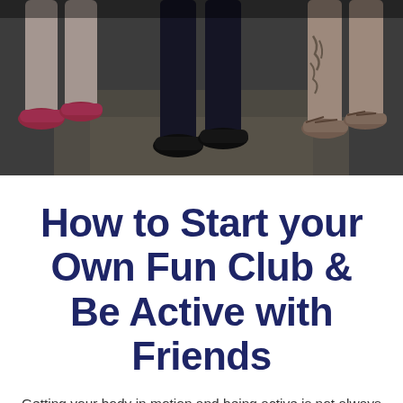[Figure (photo): Dark-toned photo showing the lower bodies and legs of three people standing on a gym floor wearing athletic shoes and workout clothing. Left person wears red/pink sneakers, center person wears black sneakers and black leggings, right person has a tattooed leg and sandals.]
How to Start your Own Fun Club & Be Active with Friends
Getting your body in motion and being active is not always easy